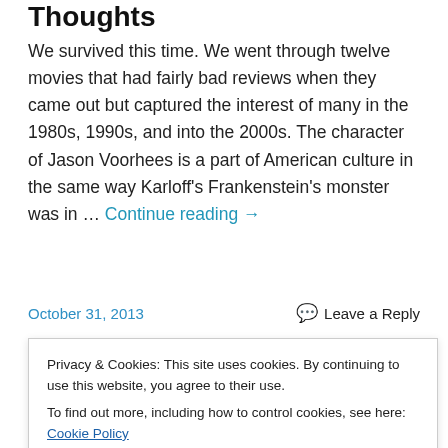Thoughts
We survived this time. We went through twelve movies that had fairly bad reviews when they came out but captured the interest of many in the 1980s, 1990s, and into the 2000s. The character of Jason Voorhees is a part of American culture in the same way Karloff’s Frankenstein’s monster was in … Continue reading →
October 31, 2013    💬 Leave a Reply
Friday in Gotham Part XII:
Privacy & Cookies: This site uses cookies. By continuing to use this website, you agree to their use.
To find out more, including how to control cookies, see here: Cookie Policy
for instance. Zack Snyder’s Dawn of the Dead is another. I